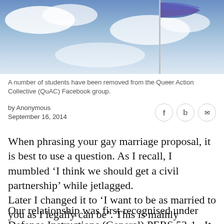[Figure (photo): A flag in blue and purple tones against a cloudy blue sky, on a pole in the upper right area.]
A number of students have been removed from the Queer Action Collective (QuAC) Facebook group.
by Anonymous
September 16, 2014
When phrasing your gay marriage proposal, it is best to use a question. As I recall, I mumbled ‘I think we should get a civil partnership’ while jetlagged.
Later I changed it to ‘I want to be as married to you as I legally can be’. This is mainly paperwork.
Our relationship was first recognised under Defence Instructions (General) PERS 53-1.  It was a catch-22: you needed to be living together for 90